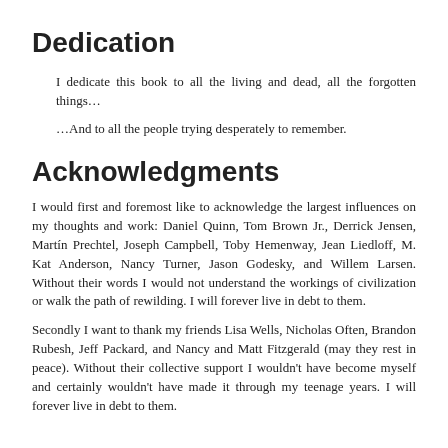Dedication
I dedicate this book to all the living and dead, all the forgotten things…
…And to all the people trying desperately to remember.
Acknowledgments
I would first and foremost like to acknowledge the largest influences on my thoughts and work: Daniel Quinn, Tom Brown Jr., Derrick Jensen, Martín Prechtel, Joseph Campbell, Toby Hemenway, Jean Liedloff, M. Kat Anderson, Nancy Turner, Jason Godesky, and Willem Larsen. Without their words I would not understand the workings of civilization or walk the path of rewilding. I will forever live in debt to them.
Secondly I want to thank my friends Lisa Wells, Nicholas Often, Brandon Rubesh, Jeff Packard, and Nancy and Matt Fitzgerald (may they rest in peace). Without their collective support I wouldn't have become myself and certainly wouldn't have made it through my teenage years. I will forever live in debt to them.